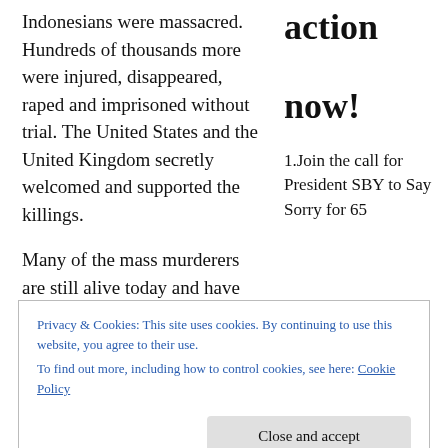Indonesians were massacred. Hundreds of thousands more were injured, disappeared, raped and imprisoned without trial. The United States and the United Kingdom secretly welcomed and supported the killings.
action now!
Many of the mass murderers are still alive today and have never been brought to justice – on the contrary, the
1.Join the call for President SBY to Say Sorry for 65
Privacy & Cookies: This site uses cookies. By continuing to use this website, you agree to their use.
To find out more, including how to control cookies, see here: Cookie Policy
Close and accept
campaign for